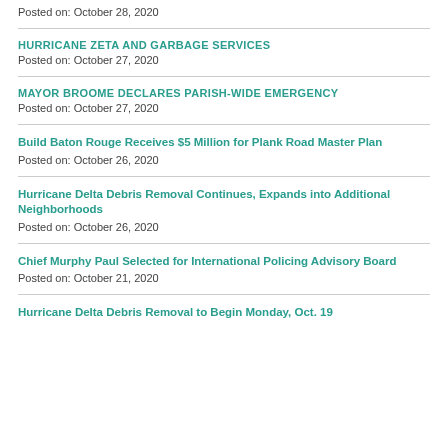Posted on: October 28, 2020
HURRICANE ZETA AND GARBAGE SERVICES
Posted on: October 27, 2020
MAYOR BROOME DECLARES PARISH-WIDE EMERGENCY
Posted on: October 27, 2020
Build Baton Rouge Receives $5 Million for Plank Road Master Plan
Posted on: October 26, 2020
Hurricane Delta Debris Removal Continues, Expands into Additional Neighborhoods
Posted on: October 26, 2020
Chief Murphy Paul Selected for International Policing Advisory Board
Posted on: October 21, 2020
Hurricane Delta Debris Removal to Begin Monday, Oct. 19